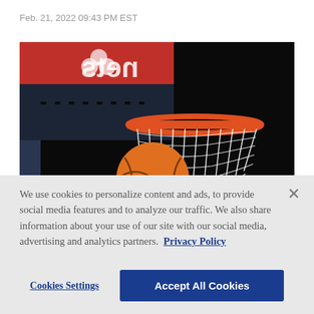Feb. 21, 2022 09:43 PM EST
[Figure (photo): Close-up photograph of a basketball hoop and net with an orange Nike basketball being held up toward the rim. A red backboard with a logo is visible in the upper left. The background is dark/black.]
We use cookies to personalize content and ads, to provide social media features and to analyze our traffic. We also share information about your use of our site with our social media, advertising and analytics partners.  Privacy Policy
Cookies Settings
Accept All Cookies